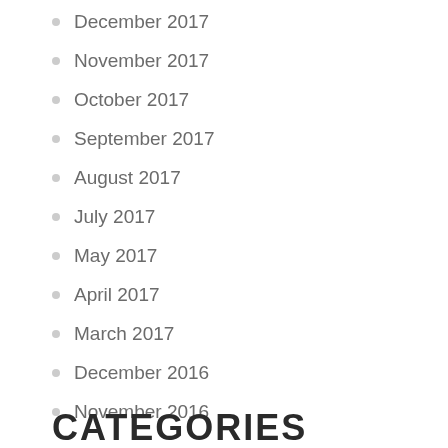December 2017
November 2017
October 2017
September 2017
August 2017
July 2017
May 2017
April 2017
March 2017
December 2016
November 2016
CATEGORIES